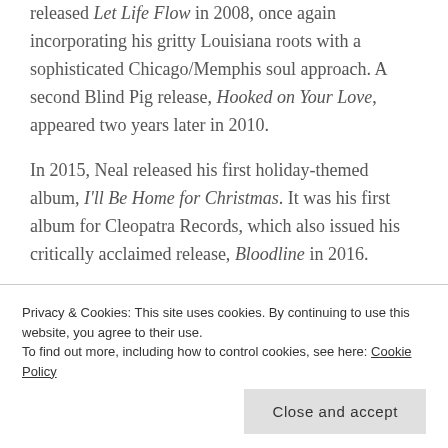released Let Life Flow in 2008, once again incorporating his gritty Louisiana roots with a sophisticated Chicago/Memphis soul approach. A second Blind Pig release, Hooked on Your Love, appeared two years later in 2010.
In 2015, Neal released his first holiday-themed album, I'll Be Home for Christmas. It was his first album for Cleopatra Records, which also issued his critically acclaimed release, Bloodline in 2016.
Kenny's 2016 release, Bloodline, was nominated for a 2017 Grammy for Best Contemporary Blues Album and...
ever to deliver the blues like no one else can!
Privacy & Cookies: This site uses cookies. By continuing to use this website, you agree to their use. To find out more, including how to control cookies, see here: Cookie Policy